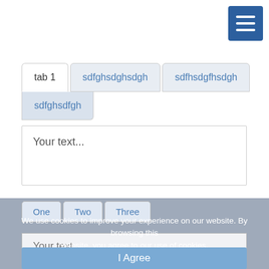[Figure (screenshot): Blue hamburger menu button (three horizontal white lines) in top-right corner]
[Figure (screenshot): Tab component with four tabs: 'tab 1' (active, white background), 'sdfghsdghsdgh', 'sdfhsdgfhsdgh' on row 1, and 'sdfghsdfgh' on row 2. Below tabs is a content area with placeholder text 'Your text...']
Your text...
[Figure (screenshot): Partially visible second tab component with tabs 'One', 'Two', 'Three' and content area showing 'Your text...', overlaid by a cookie consent banner]
We use cookies to improve your experience on our website. By browsing this website, you agree to our use of cookies.
I Agree